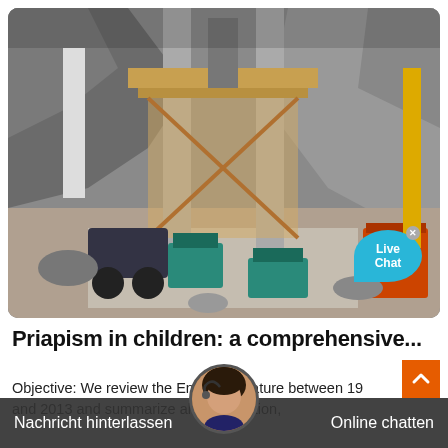[Figure (photo): Aerial view of a large construction site with heavy machinery, conveyor belts, concrete pillars, excavators, and orange equipment set in a quarry or mine area.]
Priapism in children: a comprehensive...
Objective: We review the English literature between 19 and 2013 and summarize ... al classification, ... ysiology...
Nachricht hinterlassen | Online chatten